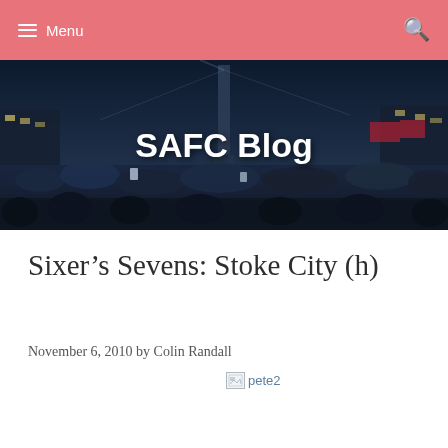Menu
[Figure (photo): Night-time crowd photo at Trafalgar Square or similar public square, with a monument/obelisk visible. Overlaid with the text 'SAFC Blog' in bold white.]
Sixer’s Sevens: Stoke City (h)
November 6, 2010 by Colin Randall
[Figure (photo): Broken image link labeled 'pete2']